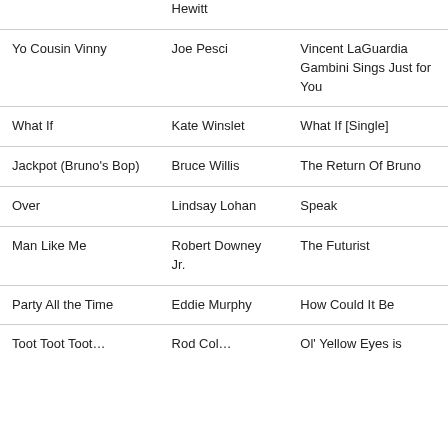| Song | Artist | Album |
| --- | --- | --- |
|  | Hewitt |  |
| Yo Cousin Vinny | Joe Pesci | Vincent LaGuardia Gambini Sings Just for You |
| What If | Kate Winslet | What If [Single] |
| Jackpot (Bruno's Bop) | Bruce Willis | The Return Of Bruno |
| Over | Lindsay Lohan | Speak |
| Man Like Me | Robert Downey Jr. | The Futurist |
| Party All the Time | Eddie Murphy | How Could It Be |
| Toot Toot Toot... | Rod Col... | Ol' Yellow Eyes is |